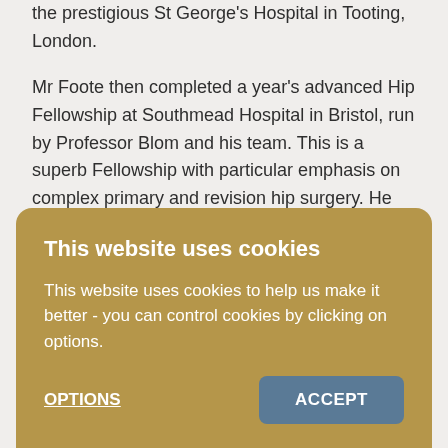the prestigious St George's Hospital in Tooting, London.

Mr Foote then completed a year's advanced Hip Fellowship at Southmead Hospital in Bristol, run by Professor Blom and his team. This is a superb Fellowship with particular emphasis on complex primary and revision hip surgery. He received exceptional, intensive training from a number of dedicated hip revision surgeons. After Bristol, Mr Foote completed a Specialist Knee Fellowship at the prestigious Nuffield Orthopaedic Centre in Oxford, working with Professor Price
This website uses cookies

This website uses cookies to help us make it better - you can control cookies by clicking on options.

OPTIONS    ACCEPT